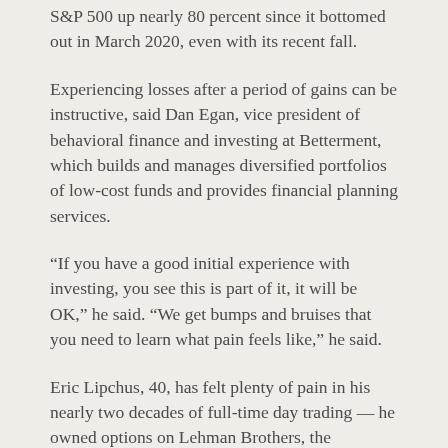S&P 500 up nearly 80 percent since it bottomed out in March 2020, even with its recent fall.
Experiencing losses after a period of gains can be instructive, said Dan Egan, vice president of behavioral finance and investing at Betterment, which builds and manages diversified portfolios of low-cost funds and provides financial planning services.
“If you have a good initial experience with investing, you see this is part of it, it will be OK,” he said. “We get bumps and bruises that you need to learn what pain feels like,” he said.
Eric Lipchus, 40, has felt plenty of pain in his nearly two decades of full-time day trading — he owned options on Lehman Brothers, the investment bank that